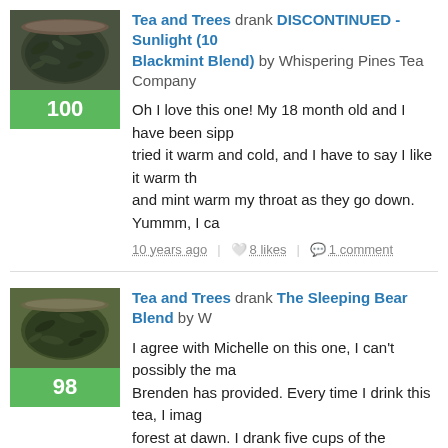[Figure (photo): Photo of loose leaf tea in a dark bowl, greenish-black tea leaves]
Tea and Trees drank DISCONTINUED - Sunlight (10... Blackmint Blend) by Whispering Pines Tea Company
Oh I love this one! My 18 month old and I have been sipp... tried it warm and cold, and I have to say I like it warm th... and mint warm my throat as they go down. Yummm, I ca...
10 years ago | 8 likes | 1 comment
[Figure (photo): Photo of loose leaf green tea in a bowl]
Tea and Trees drank The Sleeping Bear Blend by W...
I agree with Michelle on this one, I can't possibly the ma... Brenden has provided. Every time I drink this tea, I imag... forest at dawn. I drank five cups of the Sleeping Bear Bl... unable to find the right words to describe this one. I lov... mixed with the faint hints of pine needles. It does have a... normally not a huge fan of, but it works in this tea. This... green teas.